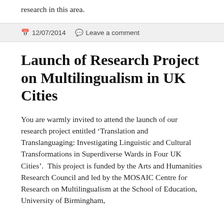research in this area.
12/07/2014   Leave a comment
Launch of Research Project on Multilingualism in UK Cities
You are warmly invited to attend the launch of our research project entitled ‘Translation and Translanguaging: Investigating Linguistic and Cultural Transformations in Superdiverse Wards in Four UK Cities’.  This project is funded by the Arts and Humanities Research Council and led by the MOSAIC Centre for Research on Multilingualism at the School of Education, University of Birmingham,